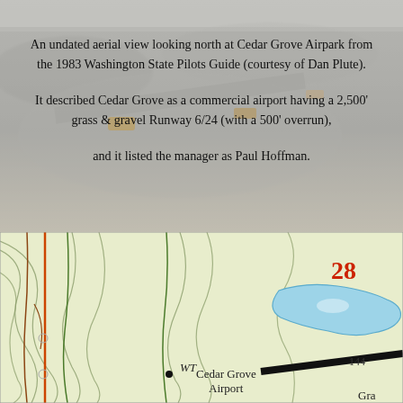[Figure (photo): Grayscale aerial photograph of Cedar Grove Airpark looking north, used as background for the upper portion of the page.]
An undated aerial view looking north at Cedar Grove Airpark from the 1983 Washington State Pilots Guide (courtesy of Dan Plute).

It described Cedar Grove as a commercial airport having a 2,500' grass & gravel Runway 6/24 (with a 500' overrun),

and it listed the manager as Paul Hoffman.
[Figure (map): Topographic map showing Cedar Grove Airport location with contour lines, roads, a blue lake/pond, elevation marker 144, number 28 in red, and text labels 'WT Cedar Grove Airport' and 'Gra' (partially cropped).]